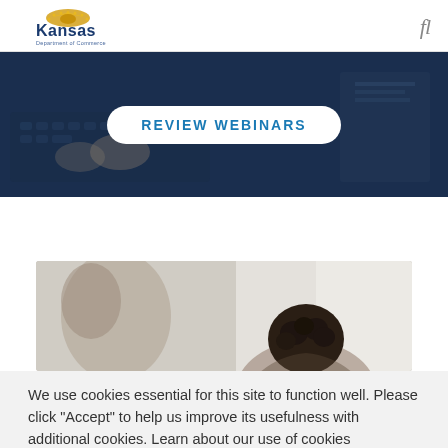[Figure (logo): Kansas Department of Commerce logo with sunflower arch above 'Kansas' text]
[Figure (screenshot): Dark blue hero banner with 'REVIEW WEBINARS' button, showing hands on laptop keyboard in background]
[Figure (photo): Photo strip showing a person from behind with curly dark hair, blurred office background]
We use cookies essential for this site to function well. Please click "Accept" to help us improve its usefulness with additional cookies. Learn about our use of cookies here.  ACCEPT